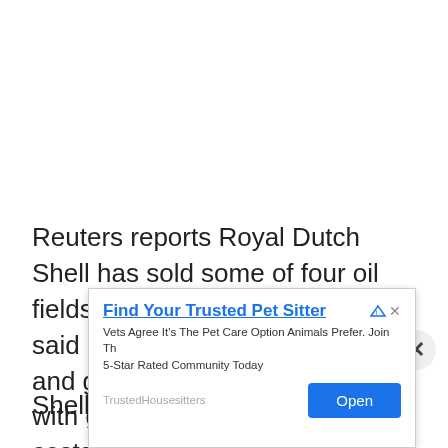Reuters reports Royal Dutch Shell has sold some of four oil fields up for grabs in Nigeria, it said on Wednesday, as the oil and gas company pushes ahead with global asset sales to cut costs.
Shell last year put up for sale its 30 percent shares
[Figure (screenshot): Advertisement banner for TrustedHousesitters: 'Find Your Trusted Pet Sitter' with body text 'Vets Agree It's The Pet Care Option Animals Prefer. Join The 5-Star Rated Community Today' and an Open button.]